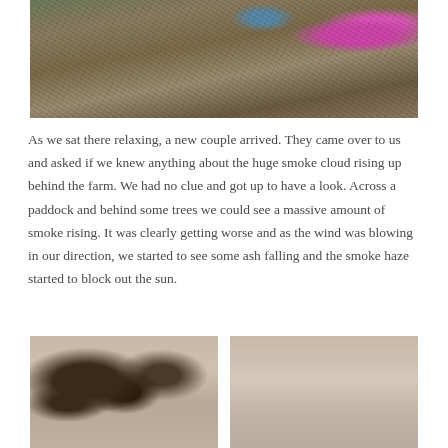[Figure (photo): Close-up photograph of dry rocky ground with dried grass and twigs, with bright pink/purple flowers visible in the upper right and right side, and a blue object partially visible at top center.]
As we sat there relaxing, a new couple arrived. They came over to us and asked if we knew anything about the huge smoke cloud rising up behind the farm. We had no clue and got up to have a look. Across a paddock and behind some trees we could see a massive amount of smoke rising. It was clearly getting worse and as the wind was blowing in our direction, we started to see some ash falling and the smoke haze started to block out the sun.
[Figure (photo): Photograph of tree branches with tangled limbs against a pale hazy sky, with smoke haze visible.]
[Figure (photo): Photograph showing a thick smoke haze filling the sky, creating a beige-grey blanket obscuring visibility.]